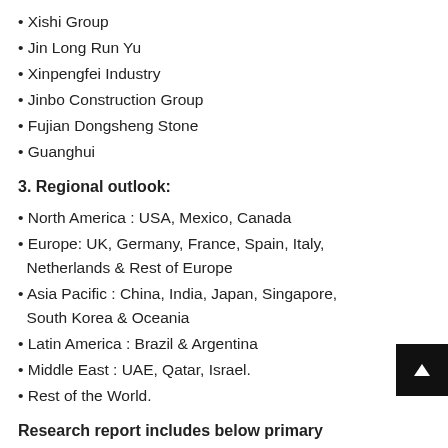Xishi Group
Jin Long Run Yu
Xinpengfei Industry
Jinbo Construction Group
Fujian Dongsheng Stone
Guanghui
3. Regional outlook:
North America : USA, Mexico, Canada
Europe: UK, Germany, France, Spain, Italy, Netherlands & Rest of Europe
Asia Pacific : China, India, Japan, Singapore, South Korea & Oceania
Latin America : Brazil & Argentina
Middle East : UAE, Qatar, Israel.
Rest of the World.
Research report includes below primary